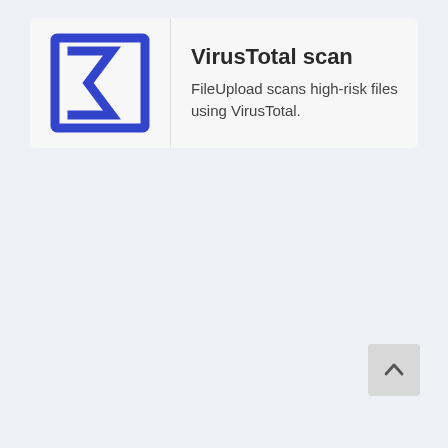[Figure (logo): VirusTotal logo: a blue stylized sigma/arrow shape inside a blue square outline]
VirusTotal scan
FileUpload scans high-risk files using VirusTotal.